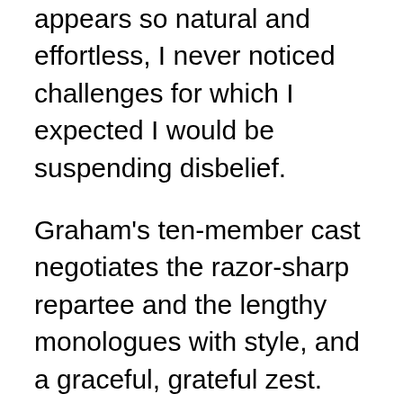appears so natural and effortless, I never noticed challenges for which I expected I would be suspending disbelief.
Graham's ten-member cast negotiates the razor-sharp repartee and the lengthy monologues with style, and a graceful, grateful zest. Joanna Riopelle is an interesting choice for a matronly harridan, with her soft-spoken voice and ballerina-carriage; yet somehow, this makes her villainy all the more insidious. Bill Chamberlain is terrific as her long-suffering husband, and Mary-Margaret Roberts and Megan Delay offer two daughters so different in every way that they might have been separated at birth. Ken Miller makes a terrific, dithering